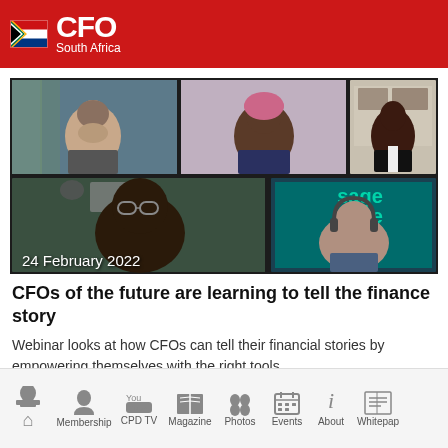CFO South Africa
[Figure (screenshot): Webinar screenshot showing 5 participants in a video call grid dated 24 February 2022]
CFOs of the future are learning to tell the finance story
Webinar looks at how CFOs can tell their financial stories by empowering themselves with the right tools.
Home | Membership | CPD TV | Magazine | Photos | Events | About | Whitepaper